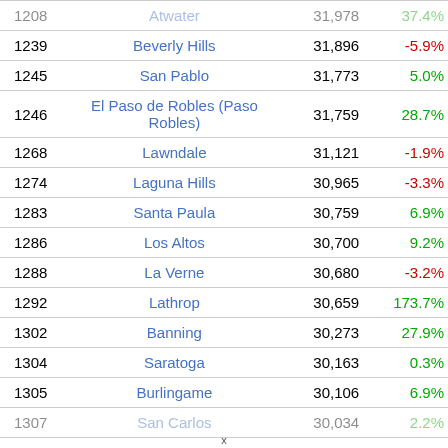| Rank | City | Population | Change |
| --- | --- | --- | --- |
| 1208 | Atwater | 31,978 | 37.4% |
| 1239 | Beverly Hills | 31,896 | -5.9% |
| 1245 | San Pablo | 31,773 | 5.0% |
| 1246 | El Paso de Robles (Paso Robles) | 31,759 | 28.7% |
| 1268 | Lawndale | 31,121 | -1.9% |
| 1274 | Laguna Hills | 30,965 | -3.3% |
| 1283 | Santa Paula | 30,759 | 6.9% |
| 1286 | Los Altos | 30,700 | 9.2% |
| 1288 | La Verne | 30,680 | -3.2% |
| 1292 | Lathrop | 30,659 | 173.7% |
| 1302 | Banning | 30,273 | 27.9% |
| 1304 | Saratoga | 30,163 | 0.3% |
| 1305 | Burlingame | 30,106 | 6.9% |
| 1307 | San Carlos | 30,034 | 2.2% |
x